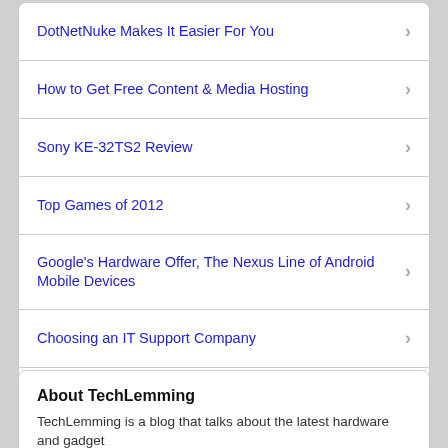DotNetNuke Makes It Easier For You
How to Get Free Content & Media Hosting
Sony KE-32TS2 Review
Top Games of 2012
Google's Hardware Offer, The Nexus Line of Android Mobile Devices
Choosing an IT Support Company
History and Features of Microsoft Works
Internet Safety and Security
About TechLemming
TechLemming is a blog that talks about the latest hardware and gadget